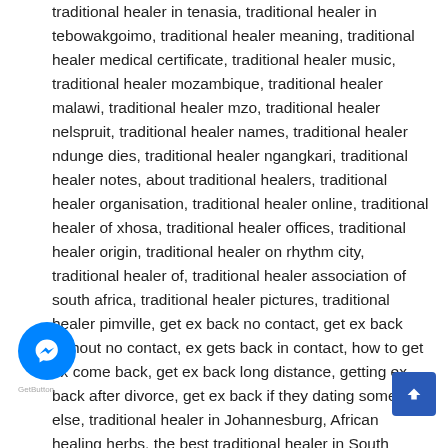traditional healer in tenasia, traditional healer in tebowakgoimo, traditional healer meaning, traditional healer medical certificate, traditional healer music, traditional healer mozambique, traditional healer malawi, traditional healer mzo, traditional healer nelspruit, traditional healer names, traditional healer ndunge dies, traditional healer ngangkari, traditional healer notes, about traditional healers, traditional healer organisation, traditional healer online, traditional healer of xhosa, traditional healer offices, traditional healer origin, traditional healer on rhythm city, traditional healer of, traditional healer association of south africa, traditional healer pictures, traditional healer pimville, get ex back no contact, get ex back without no contact, ex gets back in contact, how to get ex come back, get ex back long distance, getting ex back after divorce, get ex back if they dating someone else, traditional healer in Johannesburg, African healing herbs, the best traditional healer in South Africa, African traditional medicine, Venda traditional healers, roles of traditional healers, love